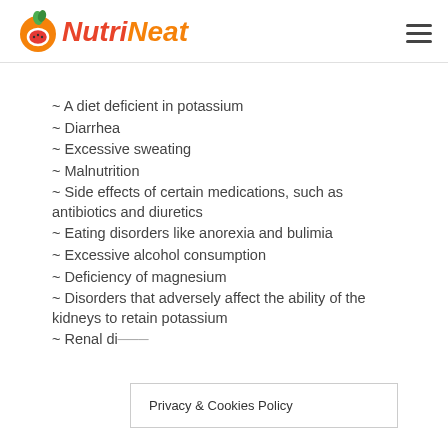NutriNeat
~ A diet deficient in potassium
~ Diarrhea
~ Excessive sweating
~ Malnutrition
~ Side effects of certain medications, such as antibiotics and diuretics
~ Eating disorders like anorexia and bulimia
~ Excessive alcohol consumption
~ Deficiency of magnesium
~ Disorders that adversely affect the ability of the kidneys to retain potassium
~ Renal di...
Privacy & Cookies Policy